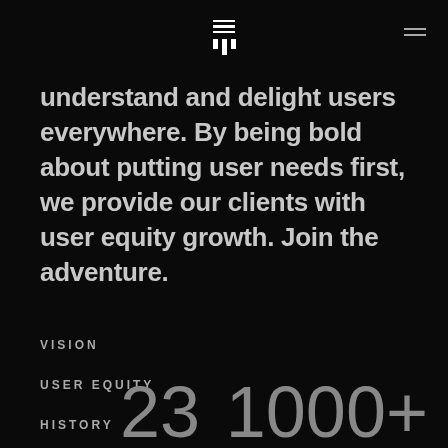[Logo icon with horizontal lines and pillars] [Menu icon]
understand and delight users everywhere. By being bold about putting user needs first, we provide our clients with user equity growth. Join the adventure.
VISION
USER EQUITY
HISTORY
23
1000+